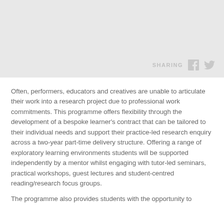[Figure (photo): Gray placeholder image area with sharing icons (Facebook and Twitter) in the bottom right corner]
Often, performers, educators and creatives are unable to articulate their work into a research project due to professional work commitments. This programme offers flexibility through the development of a bespoke learner's contract that can be tailored to their individual needs and support their practice-led research enquiry across a two-year part-time delivery structure. Offering a range of exploratory learning environments students will be supported independently by a mentor whilst engaging with tutor-led seminars, practical workshops, guest lectures and student-centred reading/research focus groups.
The programme also provides students with the opportunity to...